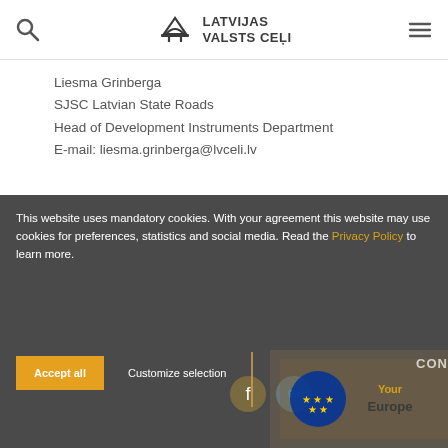LATVIJAS VALSTS CEĻI
Liesma Grinberga
SJSC Latvian State Roads
Head of Development Instruments Department
E-mail: liesma.grinberga@lvceli.lv
This website uses mandatory cookies. With your agreement this website may use cookies for preferences, statistics and social media. Read the Privacy Policy to learn more.
Accept all   Customize selection